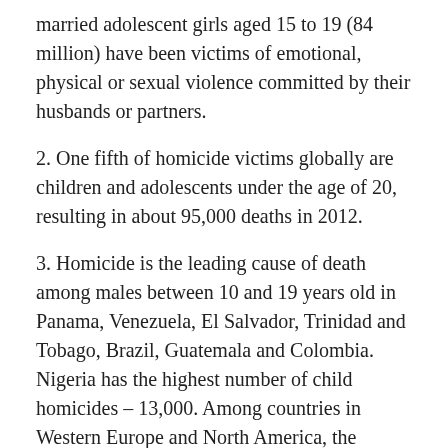married adolescent girls aged 15 to 19 (84 million) have been victims of emotional, physical or sexual violence committed by their husbands or partners.
2. One fifth of homicide victims globally are children and adolescents under the age of 20, resulting in about 95,000 deaths in 2012.
3. Homicide is the leading cause of death among males between 10 and 19 years old in Panama, Venezuela, El Salvador, Trinidad and Tobago, Brazil, Guatemala and Colombia. Nigeria has the highest number of child homicides – 13,000. Among countries in Western Europe and North America, the United States has the highest homicide rate.